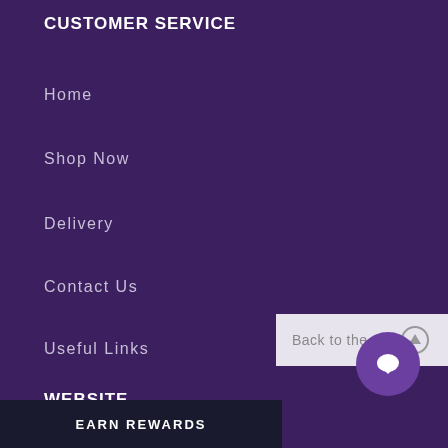CUSTOMER SERVICE
Home
Shop Now
Delivery
Contact Us
Useful Links
WEBSITE
Site Map
FAQ
[Figure (other): Back to the top button with circular arrow icon, light grey background]
[Figure (other): Chat bubble icon in purple circle]
EARN REWARDS